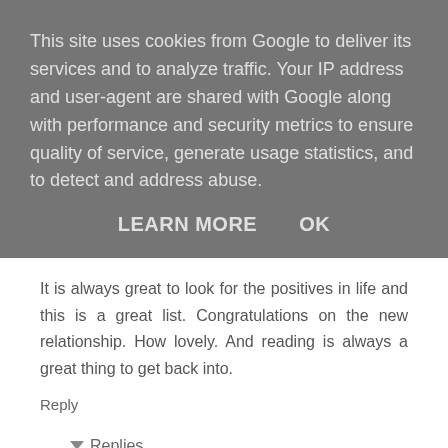This site uses cookies from Google to deliver its services and to analyze traffic. Your IP address and user-agent are shared with Google along with performance and security metrics to ensure quality of service, generate usage statistics, and to detect and address abuse.
LEARN MORE    OK
It is always great to look for the positives in life and this is a great list. Congratulations on the new relationship. How lovely. And reading is always a great thing to get back into.
Reply
Replies
Sara 9 September 2015 at 19:08